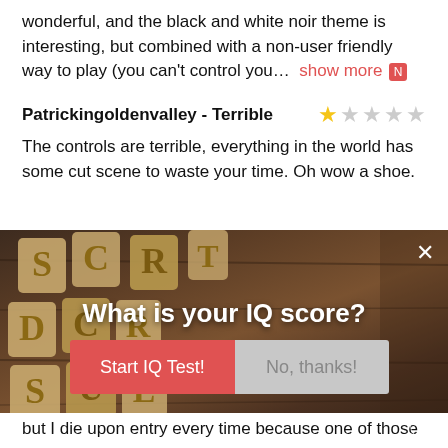wonderful, and the black and white noir theme is interesting, but combined with a non-user friendly way to play (you can't control you…  show more 🔲
Patrickingoldenvalley - Terrible ★☆☆☆☆
The controls are terrible, everything in the world has some cut scene to waste your time. Oh wow a shoe.
[Figure (screenshot): Advertisement overlay popup showing 'What is your IQ score?' with a wooden letter tiles background, a red 'Start IQ Test!' button and a grey 'No, thanks!' button, with a close X button in the top right.]
but I die upon entry every time because one of those